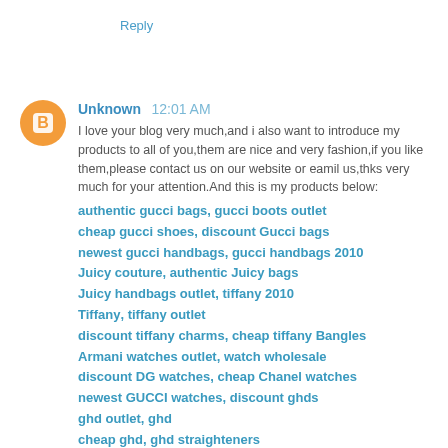Reply
Unknown 12:01 AM
I love your blog very much,and i also want to introduce my products to all of you,them are nice and very fashion,if you like them,please contact us on our website or eamil us,thks very much for your attention.And this is my products below:
authentic gucci bags, gucci boots outlet
cheap gucci shoes, discount Gucci bags
newest gucci handbags, gucci handbags 2010
Juicy couture, authentic Juicy bags
Juicy handbags outlet, tiffany 2010
Tiffany, tiffany outlet
discount tiffany charms, cheap tiffany Bangles
Armani watches outlet, watch wholesale
discount DG watches, cheap Chanel watches
newest GUCCI watches, discount ghds
ghd outlet, ghd
cheap ghd, ghd straighteners
wholesale edhardy t shirt, Moncler
Moncler jackets, cheap Moncler coats